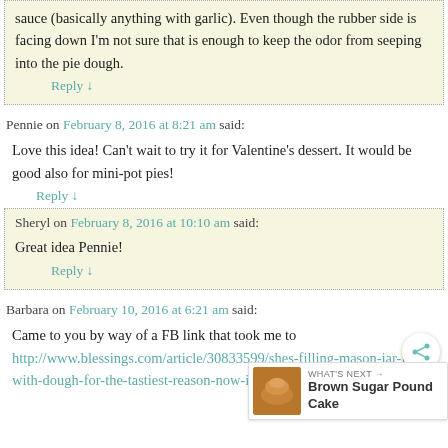sauce (basically anything with garlic). Even though the rubber side is facing down I'm not sure that is enough to keep the odor from seeping into the pie dough.
Reply ↓
Pennie on February 8, 2016 at 8:21 am said:
Love this idea! Can't wait to try it for Valentine's dessert. It would be good also for mini-pot pies!
Reply ↓
Sheryl on February 8, 2016 at 10:10 am said:
Great idea Pennie!
Reply ↓
Barbara on February 10, 2016 at 6:21 am said:
Came to you by way of a FB link that took me to http://www.blessings.com/article/30833599/shes-filling-mason-jar-lids-with-dough-for-the-tastiest-reason-now-im-